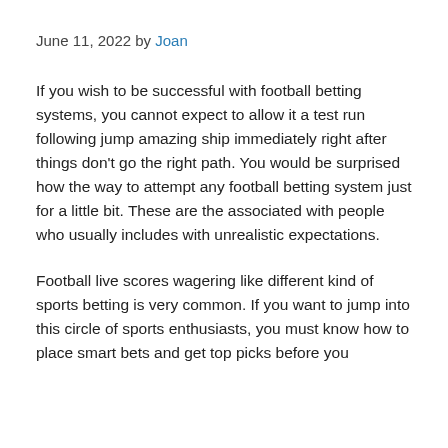June 11, 2022 by Joan
If you wish to be successful with football betting systems, you cannot expect to allow it a test run following jump amazing ship immediately right after things don't go the right path. You would be surprised how the way to attempt any football betting system just for a little bit. These are the associated with people who usually includes with unrealistic expectations.
Football live scores wagering like different kind of sports betting is very common. If you want to jump into this circle of sports enthusiasts, you must know how to place smart bets and get top picks before you